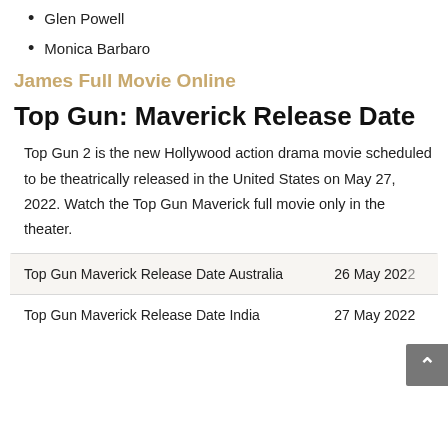Glen Powell
Monica Barbaro
James Full Movie Online
Top Gun: Maverick Release Date
Top Gun 2 is the new Hollywood action drama movie scheduled to be theatrically released in the United States on May 27, 2022. Watch the Top Gun Maverick full movie only in the theater.
|  |  |
| --- | --- |
| Top Gun Maverick Release Date Australia | 26 May 2022 |
| Top Gun Maverick Release Date India | 27 May 2022 |